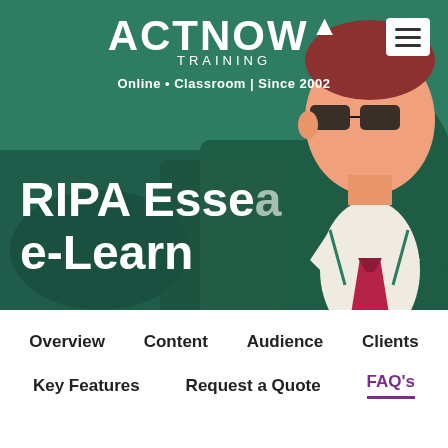[Figure (illustration): Act Now Training website screenshot showing a hero banner with a dark teal/green background featuring an illustrated character in a green suit, white shirt, and red tie with sunglasses. The logo reads ACTNOW TRAINING with tagline 'Online • Classroom | Since 2002'. A hamburger menu icon appears top right. The hero title reads 'RIPA Esse[ntials] e-Learn[ing]'. Below is a white navigation bar with links: Overview, Content, Audience, Clients, Key Features, Request a Quote, FAQ's (active, in purple with underline).]